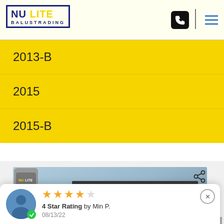Nu-Lite Balustrading
2013-B
2015
2015-B
[Figure (photo): Photo of dark metal/glass balustrade system against blue sky background, with Nu-Lite logo thumbnail and share icon overlay; Get A Quote button and mail icon button overlaid on image; scroll-up arrow button on right side]
Get A Quote
4 Star Rating by Min P.
08/13/22